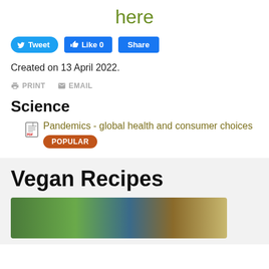here
[Figure (other): Social media buttons: Tweet, Like 0, Share]
Created on 13 April 2022.
PRINT   EMAIL
Science
Pandemics - global health and consumer choices
POPULAR
Vegan Recipes
[Figure (photo): Food photo showing vegan dishes with greens and grains]